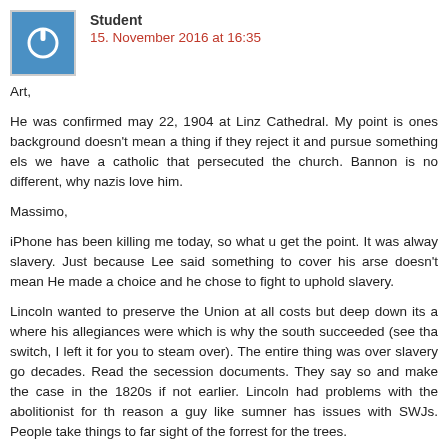Student
15. November 2016 at 16:35
Art,

He was confirmed may 22, 1904 at Linz Cathedral. My point is ones background doesn't mean a thing if they reject it and pursue something else, we have a catholic that persecuted the church. Bannon is no different, which is why nazis love him.

Massimo,

iPhone has been killing me today, so what u get the point. It was always over slavery. Just because Lee said something to cover his arse doesn't mean it. He made a choice and he chose to fight to uphold slavery.

Lincoln wanted to preserve the Union at all costs but deep down its about where his allegiances were which is why the south succeeded (see that bait and switch, I left it for you to steam over). The entire thing was over slavery going back decades. Read the secession documents. They say so and make the case going back in the 1820s if not earlier. Lincoln had problems with the abolitionist for the same reason a guy like sumner has issues with SWJs. People take things to far and lose sight of the forrest for the trees.

Why is it so hard to admit the south was fighting to uphold the exploitation of millions of people for their personal gain. They were greedy bastards that didn't give a rats ass about Liberty so long as they could line their pockets on the backs of millions of people they convinced themselves were subhuman.